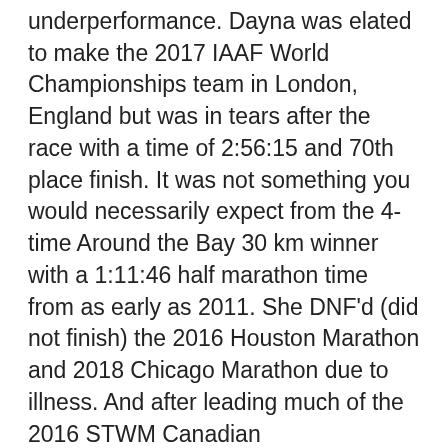underperformance. Dayna was elated to make the 2017 IAAF World Championships team in London, England but was in tears after the race with a time of 2:56:15 and 70th place finish. It was not something you would necessarily expect from the 4-time Around the Bay 30 km winner with a 1:11:46 half marathon time from as early as 2011. She DNF'd (did not finish) the 2016 Houston Marathon and 2018 Chicago Marathon due to illness. And after leading much of the 2016 STWM Canadian Championship, she suffered to the finish, placing third with a sacral stress that would take much time to heal. But she didn't turn away to pursue another career. She got back to work for another STWM and didn't do anything different than before. When she got to the start line on October 20, 2019 she knew that anything could happen with the marathon, like many times before. This time it proved to be exactly everything she needed on what would be her perfect day. I wasn't the only one in tears when she was given